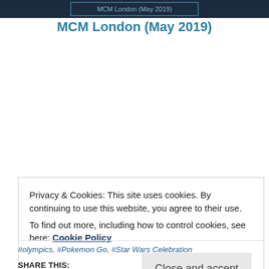[Figure (screenshot): Dark header image strip from a website]
MCM London (May 2019)
Privacy & Cookies: This site uses cookies. By continuing to use this website, you agree to their use.
To find out more, including how to control cookies, see here: Cookie Policy
Close and accept
#olympics, #Pokemon Go, #Star Wars Celebration
SHARE THIS: